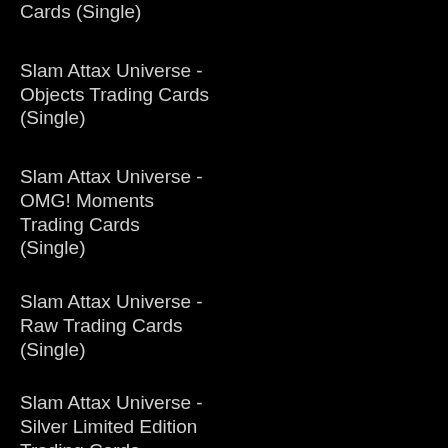Cards (Single)
Slam Attax Universe - Objects Trading Cards (Single)
Slam Attax Universe - OMG! Moments Trading Cards (Single)
Slam Attax Universe - Raw Trading Cards (Single)
Slam Attax Universe - Silver Limited Edition Trading Cards (Single)
Slam Attax Universe - Showman Trading Cards (Single)
Slam Attax Universe - Smackdown Live Trading Cards (Single)